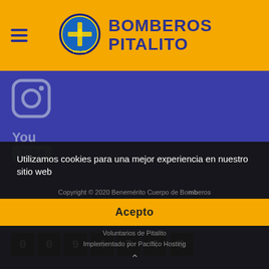BOMBEROS PITALITO
[Figure (logo): Bomberos Pitalito circular emblem/badge logo]
[Figure (illustration): Instagram icon (rounded square camera outline)]
[Figure (illustration): YouTube icon (You Tube retro logo)]
VISITANTES
009470
Utilizamos cookies para una mejor experiencia en nuestro sitio web
Copyright © 2020 Benemérito Cuerpo de Bomberos Voluntarios de Pitalito
Implementado por Pacífico Hosting
Acepto